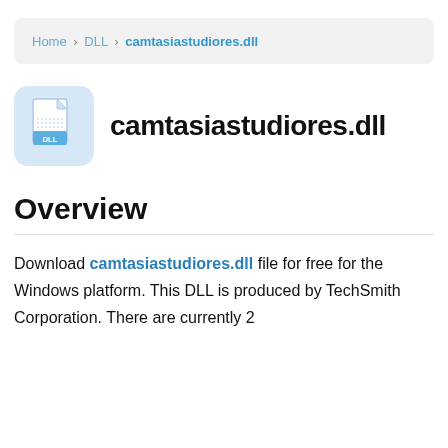Home > DLL > camtasiastudiores.dll
camtasiastudiores.dll
Overview
Download camtasiastudiores.dll file for free for the Windows platform. This DLL is produced by TechSmith Corporation. There are currently 2